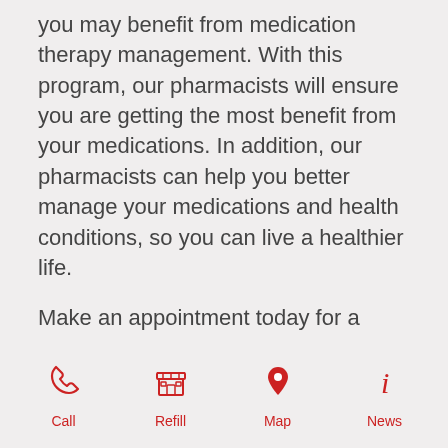you may benefit from medication therapy management. With this program, our pharmacists will ensure you are getting the most benefit from your medications. In addition, our pharmacists can help you better manage your medications and health conditions, so you can live a healthier life.
Make an appointment today for a medication therapy management session with one of our pharmacists.
Call | Refill | Map | News